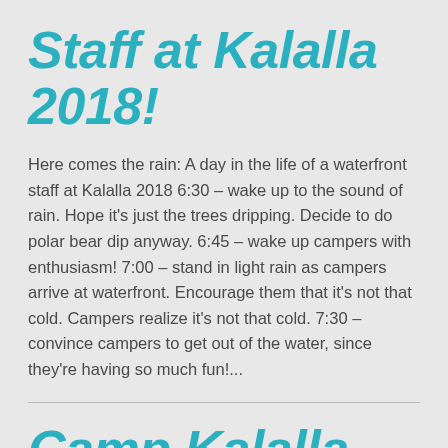Staff at Kalalla 2018!
Here comes the rain: A day in the life of a waterfront staff at Kalalla 2018 6:30 – wake up to the sound of rain.  Hope it's just the trees dripping.  Decide to do polar bear dip anyway. 6:45 – wake up campers with enthusiasm! 7:00 – stand in light rain as campers arrive at waterfront.  Encourage them that it's not that cold.  Campers realize it's not that cold. 7:30 – convince campers to get out of the water, since they're having so much fun!...
Camp Kalalla